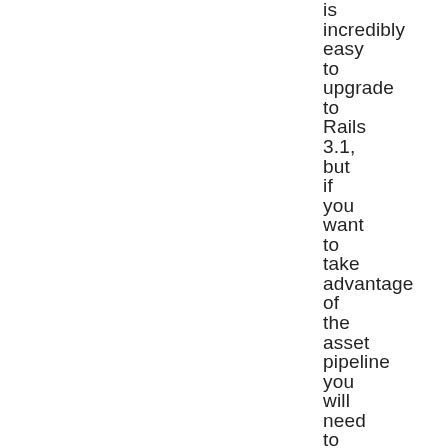is incredibly easy to upgrade to Rails 3.1, but if you want to take advantage of the asset pipeline you will need to put in some extra effort. Have